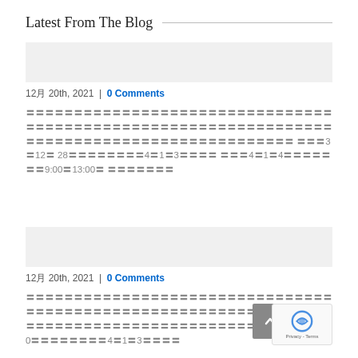Latest From The Blog
12月 20th, 2021 | 0 Comments
〓〓〓〓〓〓〓〓〓〓〓〓〓〓〓〓〓〓〓〓〓〓〓〓〓〓〓〓〓〓〓〓〓〓〓〓〓〓〓〓〓〓〓〓〓〓〓〓〓〓〓〓〓〓〓〓〓〓〓〓〓〓〓〓〓〓〓〓 〓〓〓3〓12〓28〓〓〓〓〓〓〓〓〓4〓1〓3〓〓〓〓 〓〓〓4〓1〓4〓〓〓〓〓〓〓9:00〓13:00〓〓〓〓〓〓〓
12月 20th, 2021 | 0 Comments
〓〓〓〓〓〓〓〓〓〓〓〓〓〓〓〓〓〓〓〓〓〓〓〓〓〓〓〓〓〓〓〓〓〓〓〓〓〓〓〓〓〓〓〓〓〓〓〓〓〓〓〓〓〓〓〓〓〓〓〓〓〓〓〓〓〓〓〓 〓〓〓3〓12〓30〓〓〓〓〓〓〓〓4〓1〓3〓〓〓〓